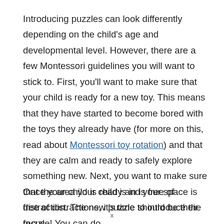Introducing puzzles can look differently depending on the child's age and developmental level. However, there are a few Montessori guidelines you will want to stick to. First, you'll want to make sure that your child is ready for a new toy. This means that they have started to become bored with the toys they already have (for more on this, read about Montessori toy rotation) and that they are calm and ready to safely explore something new. Next, you want to make sure that the area your child is in is free of distraction. The new puzzle should be their focus.
Once your child is ready and your space is free of distractions, it's time to introduce the puzzle! You can do